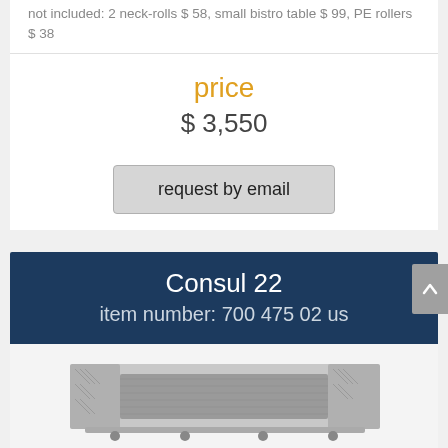not included: 2 neck-rolls $ 58, small bistro table $ 99, PE rollers $ 38
price
$ 3,550
request by email
Consul 22
item number: 700 475 02 us
[Figure (photo): Product photo of Consul 22 item, showing a grey/silver storage or furniture unit with textured surface and grey fabric/cover, viewed from above at an angle.]